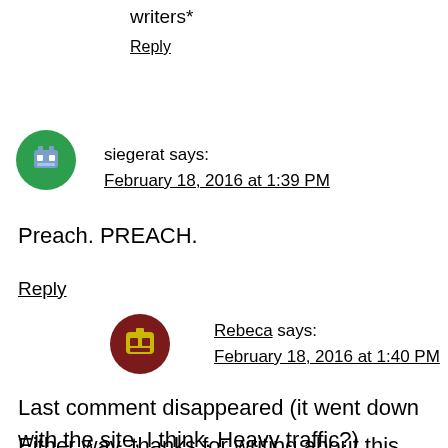writers*
Reply
[Figure (illustration): Green circular avatar with robot/pixel art icon for user siegerat]
siegerat says:
February 18, 2016 at 1:39 PM
Preach. PREACH.
Reply
[Figure (illustration): Dark red circular avatar with pixel art robot/character icon for user Rebeca]
Rebeca says:
February 18, 2016 at 1:40 PM
Last comment disappeared (it went down with the site, I think. Heavy traffic?)
Either way, thanks for writing about this,